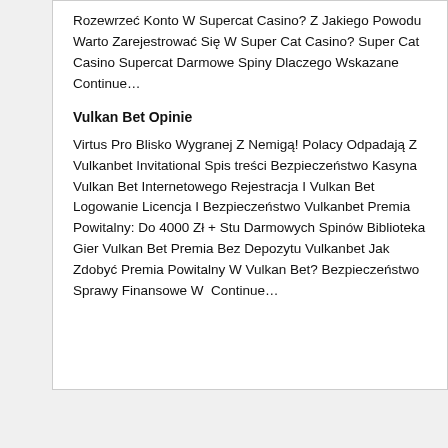Rozewrzeć Konto W Supercat Casino? Z Jakiego Powodu Warto Zarejestrować Się W Super Cat Casino? Super Cat Casino Supercat Darmowe Spiny Dlaczego Wskazane Continue…
Vulkan Bet Opinie
Virtus Pro Blisko Wygranej Z Nemigą! Polacy Odpadają Z Vulkanbet Invitational Spis treści Bezpieczeństwo Kasyna Vulkan Bet Internetowego Rejestracja I Vulkan Bet Logowanie Licencja I Bezpieczeństwo Vulkanbet Premia Powitalny: Do 4000 Zł + Stu Darmowych Spinów Biblioteka Gier Vulkan Bet Premia Bez Depozytu Vulkanbet Jak Zdobyć Premia Powitalny W Vulkan Bet? Bezpieczeństwo Sprawy Finansowe W  Continue…